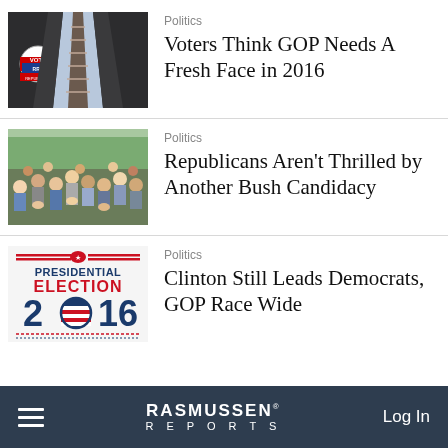[Figure (photo): Person in dark suit with striped tie wearing a Republican Vote campaign button]
Politics
Voters Think GOP Needs A Fresh Face in 2016
[Figure (photo): Crowd of people applauding at a political rally]
Politics
Republicans Aren't Thrilled by Another Bush Candidacy
[Figure (logo): Presidential Election 2016 logo with American flag imagery]
Politics
Clinton Still Leads Democrats, GOP Race Wide
RASMUSSEN REPORTS  Log In